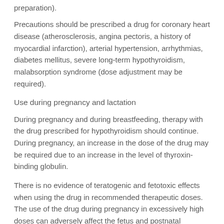preparation).
Precautions should be prescribed a drug for coronary heart disease (atherosclerosis, angina pectoris, a history of myocardial infarction), arterial hypertension, arrhythmias, diabetes mellitus, severe long-term hypothyroidism, malabsorption syndrome (dose adjustment may be required).
Use during pregnancy and lactation
During pregnancy and during breastfeeding, therapy with the drug prescribed for hypothyroidism should continue. During pregnancy, an increase in the dose of the drug may be required due to an increase in the level of thyroxin-binding globulin.
There is no evidence of teratogenic and fetotoxic effects when using the drug in recommended therapeutic doses. The use of the drug during pregnancy in excessively high doses can adversely affect the fetus and postnatal development.